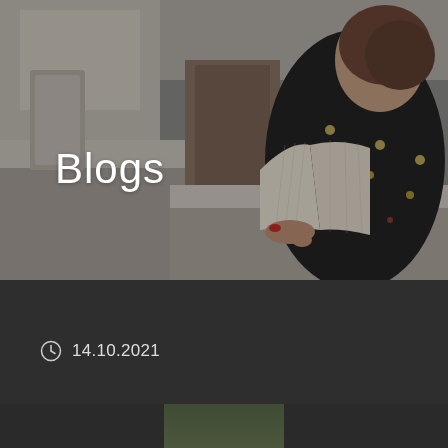[Figure (photo): A woman with dark floral dress seen from behind, reading an open book, sitting at a desk in what appears to be a library or classroom. The background is slightly blurred showing chairs and wooden furniture. The image has a dark overlay.]
Blogs
14.10.2021